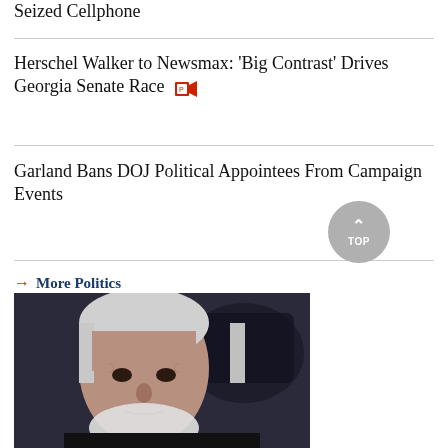Seized Cellphone
Herschel Walker to Newsmax: 'Big Contrast' Drives Georgia Senate Race
Garland Bans DOJ Political Appointees From Campaign Events
→ More Politics
[Figure (photo): Photo of an elderly man with white hair and beard, looking at camera, with camera equipment in background]